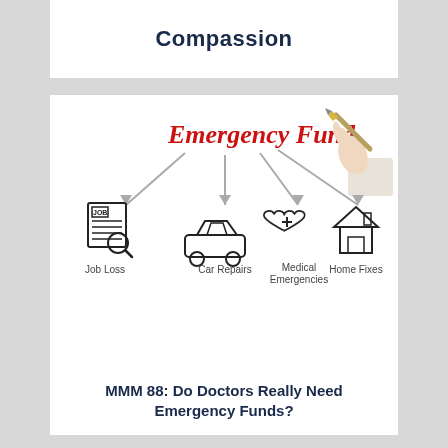Compassion
[Figure (infographic): Emergency Fund infographic showing arrows pointing down from 'Emergency Fund' text to four icons: Job Loss (newspaper with magnifying glass), Car Repairs (car icon), Medical Emergencies (heart with plus), Home Fixes (house icon). A hand holding a pen appears in the top right. Arrows connect the central title to each category below.]
MMM 88: Do Doctors Really Need Emergency Funds?